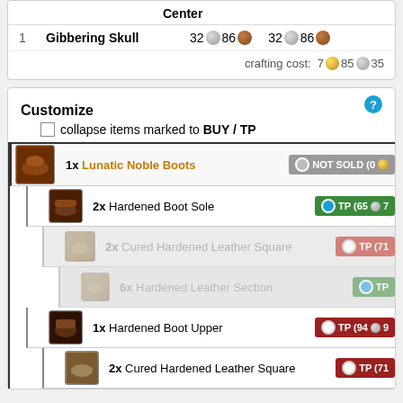|  | Center |  |  |
| --- | --- | --- | --- |
| 1 | Gibbering Skull | 32 silver 86 copper | 32 silver 86 copper |
crafting cost: 7 gold 85 silver 35
Customize
collapse items marked to BUY / TP
1x Lunatic Noble Boots — NOT SOLD (0)
2x Hardened Boot Sole — TP (65 silver 7...)
2x Cured Hardened Leather Square — TP (71...)
6x Hardened Leather Section — TP
1x Hardened Boot Upper — TP (94 silver 9...)
2x Cured Hardened Leather Square — TP (71...)